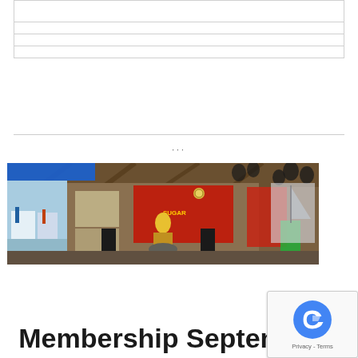|  |
|  |
|  |
|  |
···
[Figure (photo): Interior of a marina or yacht club pavilion. A performer in a yellow/green shirt stands at a drum kit on a small stage area, with a red banner behind them. Black speakers flank the stage. Balloons hang from the ceiling beams. To the left, sailboats are visible through an open side at a dock. A green shirt hangs on the right side. Another framed sailboat image is visible on the far right wall.]
Membership September 2010